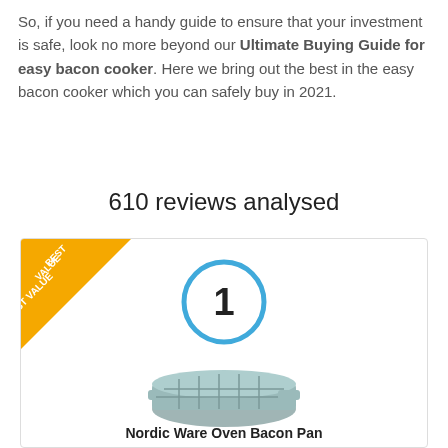So, if you need a handy guide to ensure that your investment is safe, look no more beyond our Ultimate Buying Guide for easy bacon cooker. Here we bring out the best in the easy bacon cooker which you can safely buy in 2021.
610 reviews analysed
[Figure (other): Product card with 'BEST VALUE' badge in top-left corner, a blue circle with number 1, a photo of a Nordic Ware Oven Bacon Pan, and the product title at the bottom.]